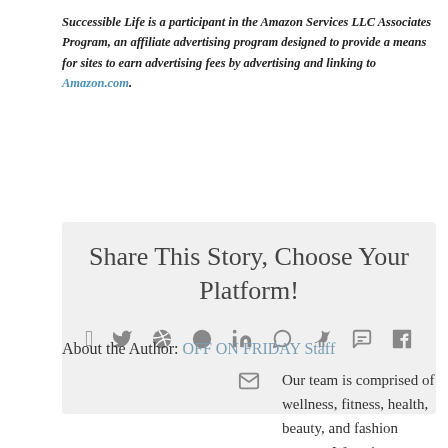Successible Life is a participant in the Amazon Services LLC Associates Program, an affiliate advertising program designed to provide a means for sites to earn advertising fees by advertising and linking to Amazon.com.
[Figure (infographic): Share This Story, Choose Your Platform! box with social media icons: Facebook, Twitter, Reddit, LinkedIn, WhatsApp, Tumblr, Pinterest, VK, Xing, Email]
About the Author: OFF ON FRIDAY Staff
Our team is comprised of wellness, fitness, health, beauty, and fashion experts. We strive to improve our